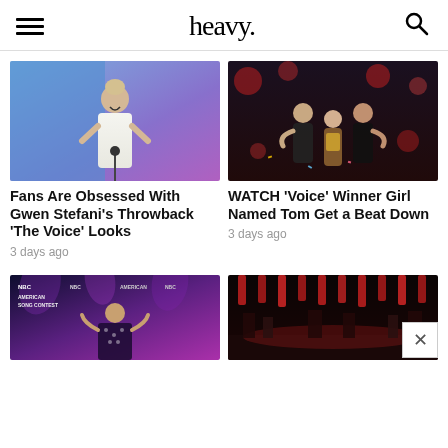heavy.
[Figure (photo): Gwen Stefani on stage in white outfit against blue/purple background]
[Figure (photo): Voice winner Girl Named Tom celebrating with coaches against red lit background]
Fans Are Obsessed With Gwen Stefani’s Throwback ‘The Voice’ Looks
WATCH ‘Voice’ Winner Girl Named Tom Get a Beat Down
3 days ago
3 days ago
[Figure (photo): Person at NBC American Song Contest event]
[Figure (photo): Stage with red lights]